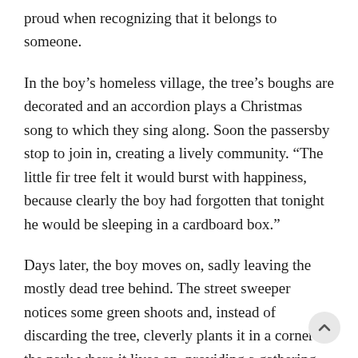proud when recognizing that it belongs to someone.
In the boy's homeless village, the tree's boughs are decorated and an accordion plays a Christmas song to which they sing along. Soon the passersby stop to join in, creating a lively community. “The little fir tree felt it would burst with happiness, because clearly the boy had forgotten that tonight he would be sleeping in a cardboard box.”
Days later, the boy moves on, sadly leaving the mostly dead tree behind. The street sweeper notices some green shoots and, instead of discarding the tree, cleverly plants it in a corner of the park where it lives on, providing a gathering place for people and animals.
The book’s rich watercolor images by Sutton